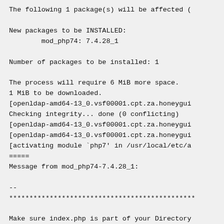The following 1 package(s) will be affected (

New packages to be INSTALLED:
        mod_php74: 7.4.28_1

Number of packages to be installed: 1

The process will require 6 MiB more space.
1 MiB to be downloaded.
[openldap-amd64-13_0.vsf00001.cpt.za.honeygui
Checking integrity... done (0 conflicting)
[openldap-amd64-13_0.vsf00001.cpt.za.honeygui
[openldap-amd64-13_0.vsf00001.cpt.za.honeygui
[activating module `php7' in /usr/local/etc/a
=====
Message from mod_php74-7.4.28_1:

--
**********************************************

Make sure index.php is part of your Directory